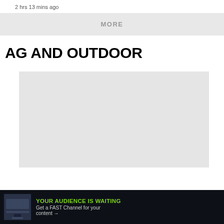2 hrs 13 mins ago
MORE
AG AND OUTDOOR
[Figure (other): Gray placeholder rectangle for an advertisement or image]
[Figure (other): Dark advertisement banner: YOUR AUDIENCE IS WAITING. Get a FAST Channel for your content. With a small preview image on the left.]